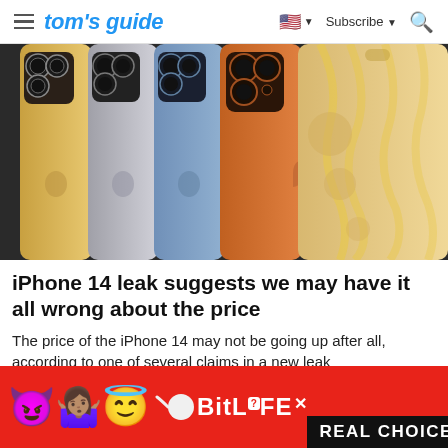tom's guide | Subscribe
[Figure (photo): Multiple iPhone 14 models lined up side by side showing their backs, in various colors: gold, silver, blue, orange/copper, and a stylized golden/cream colored case. The phones display triple camera systems on the back.]
iPhone 14 leak suggests we may have it all wrong about the price
The price of the iPhone 14 may not be going up after all, according to one of several claims in a new leak
[Figure (other): BitLife advertisement banner with red background showing devil emoji, person raising hands emoji, and angel emoji on the left side, a sperm graphic and BITLIFE logo with question mark badge and X close button, and REAL CHOICES text in black bar on the right side.]